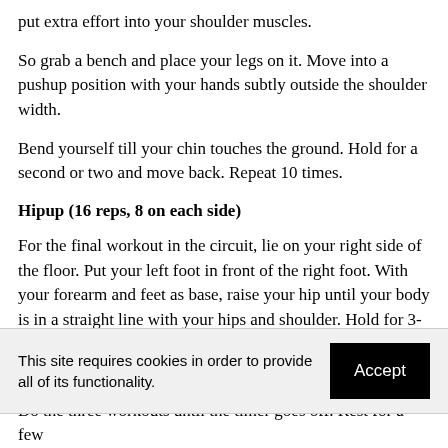put extra effort into your shoulder muscles.
So grab a bench and place your legs on it. Move into a pushup position with your hands subtly outside the shoulder width.
Bend yourself till your chin touches the ground. Hold for a second or two and move back. Repeat 10 times.
Hipup (16 reps, 8 on each side)
For the final workout in the circuit, lie on your right side of the floor. Put your left foot in front of the right foot. With your forearm and feet as base, raise your hip until your body is in a straight line with your hips and shoulder. Hold for 3-4 seconds return to start position.
This site requires cookies in order to provide all of its functionality.
Do the three workouts until the timer goes off. Rest for a few